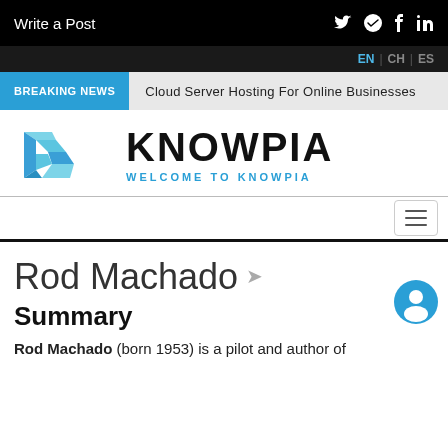Write a Post
EN | CH | ES
BREAKING NEWS   Cloud Server Hosting For Online Businesses
[Figure (logo): Knowpia blue angular logo icon with KNOWPIA text and WELCOME TO KNOWPIA subtitle]
Rod Machado
Summary
Rod Machado (born 1953) is a pilot and author of